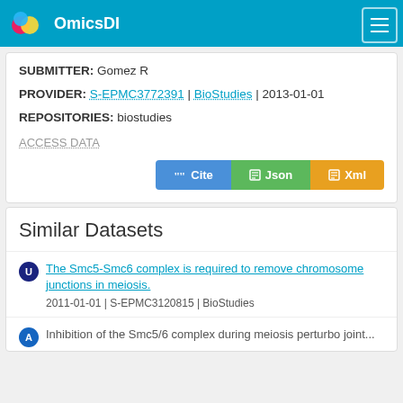OmicsDI
SUBMITTER: Gomez R
PROVIDER: S-EPMC3772391 | BioStudies | 2013-01-01
REPOSITORIES: biostudies
ACCESS DATA
Cite | Json | Xml
Similar Datasets
The Smc5-Smc6 complex is required to remove chromosome junctions in meiosis.
2011-01-01 | S-EPMC3120815 | BioStudies
Inhibition of the Smc5/6 complex during meiosis perturbs joint...